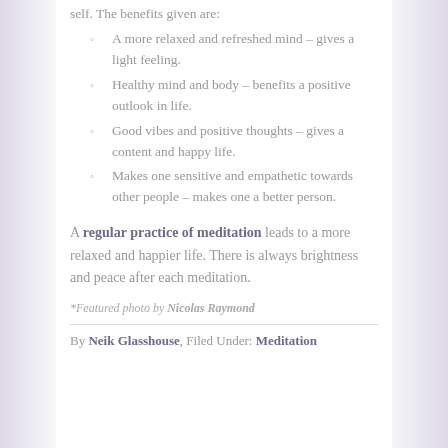self. The benefits given are:
A more relaxed and refreshed mind – gives a light feeling.
Healthy mind and body – benefits a positive outlook in life.
Good vibes and positive thoughts – gives a content and happy life.
Makes one sensitive and empathetic towards other people – makes one a better person.
A regular practice of meditation leads to a more relaxed and happier life. There is always brightness and peace after each meditation.
*Featured photo by Nicolas Raymond
By Neik Glasshouse, Filed Under: Meditation